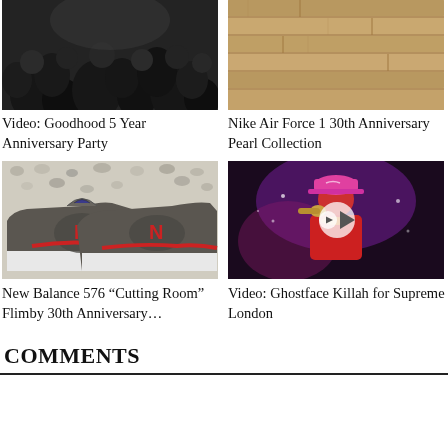[Figure (photo): Black and white photo of a crowd at Goodhood 5 Year Anniversary Party]
Video: Goodhood 5 Year Anniversary Party
[Figure (photo): Photo of wooden floor planks for Nike Air Force 1 30th Anniversary Pearl Collection]
Nike Air Force 1 30th Anniversary Pearl Collection
[Figure (photo): Photo of New Balance 576 sneakers on pebbles]
New Balance 576 “Cutting Room” Flimby 30th Anniversary…
[Figure (photo): Video thumbnail of Ghostface Killah performing for Supreme London, with play button overlay]
Video: Ghostface Killah for Supreme London
COMMENTS